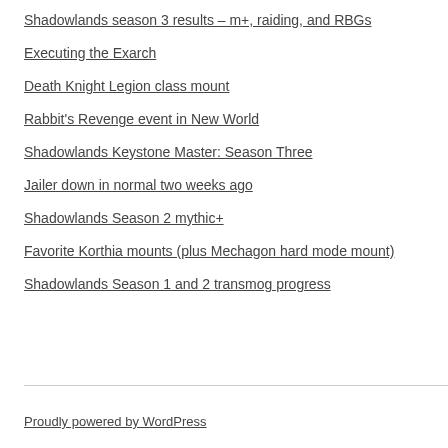Shadowlands season 3 results – m+, raiding, and RBGs
Executing the Exarch
Death Knight Legion class mount
Rabbit's Revenge event in New World
Shadowlands Keystone Master: Season Three
Jailer down in normal two weeks ago
Shadowlands Season 2 mythic+
Favorite Korthia mounts (plus Mechagon hard mode mount)
Shadowlands Season 1 and 2 transmog progress
Proudly powered by WordPress